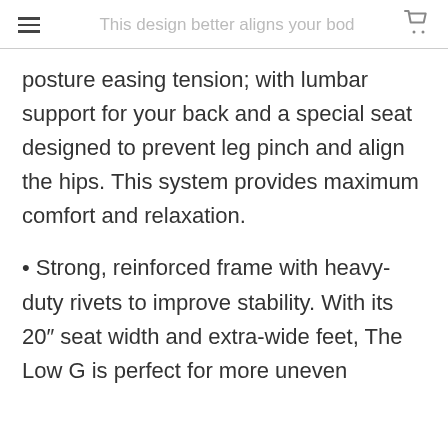This design better aligns your bod…
posture easing tension; with lumbar support for your back and a special seat designed to prevent leg pinch and align the hips. This system provides maximum comfort and relaxation.
• Strong, reinforced frame with heavy-duty rivets to improve stability. With its 20″ seat width and extra-wide feet, The Low G is perfect for more uneven